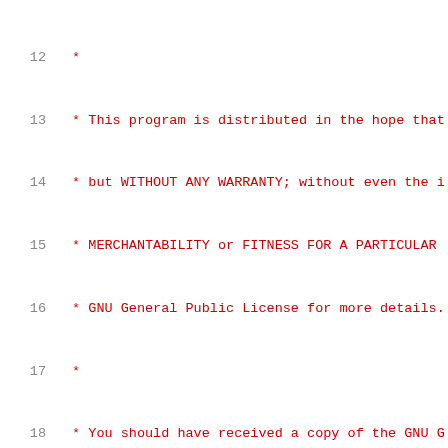Source code listing lines 12-32 showing GPL license comment block and includes for common.h, command.h, net.h, and a comment about allowing ports to override default behavior with __attribute__((weak))